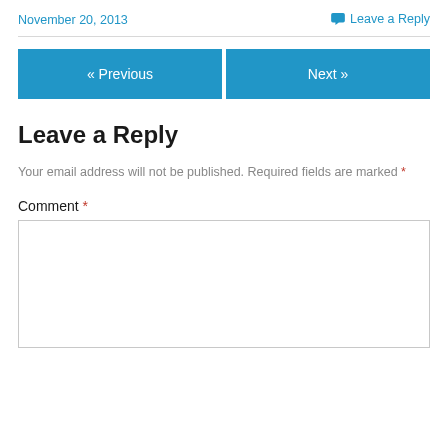November 20, 2013
Leave a Reply
« Previous
Next »
Leave a Reply
Your email address will not be published. Required fields are marked *
Comment *